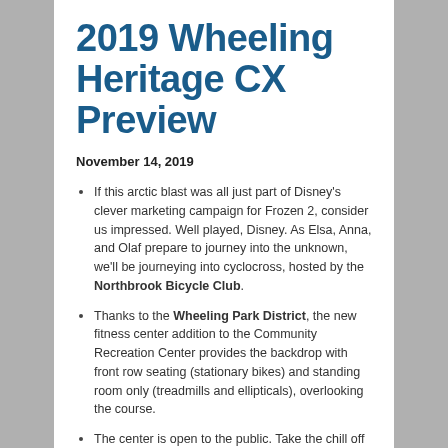2019 Wheeling Heritage CX Preview
November 14, 2019
If this arctic blast was all just part of Disney's clever marketing campaign for Frozen 2, consider us impressed. Well played, Disney. As Elsa, Anna, and Olaf prepare to journey into the unknown, we'll be journeying into cyclocross, hosted by the Northbrook Bicycle Club.
Thanks to the Wheeling Park District, the new fitness center addition to the Community Recreation Center provides the backdrop with front row seating (stationary bikes) and standing room only (treadmills and ellipticals), overlooking the course.
The center is open to the public. Take the chill off while checking out a pickleball match, but please leave bicycles outside.
Please check https://Wheeling CX...